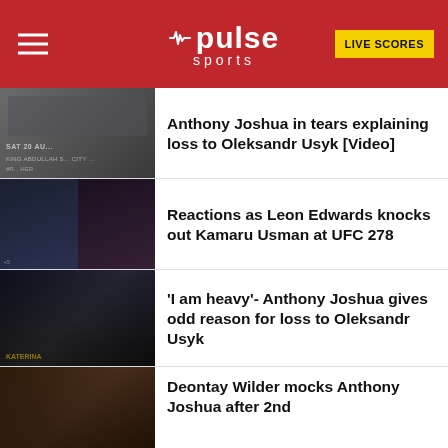Pulse Sports | LIVE SCORES
Anthony Joshua in tears explaining loss to Oleksandr Usyk [Video]
Reactions as Leon Edwards knocks out Kamaru Usman at UFC 278
'I am heavy'- Anthony Joshua gives odd reason for loss to Oleksandr Usyk
Deontay Wilder mocks Anthony Joshua after 2nd